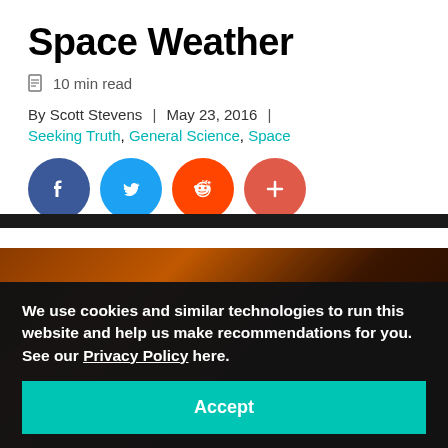Space Weather
10 min read
By Scott Stevens  |  May 23, 2016  |
Seeking Truth, General Science, Space
[Figure (other): Social share buttons: Facebook, Twitter, Reddit, More (+)]
We use cookies and similar technologies to run this website and help us make recommendations for you. See our Privacy Policy here.
Accept